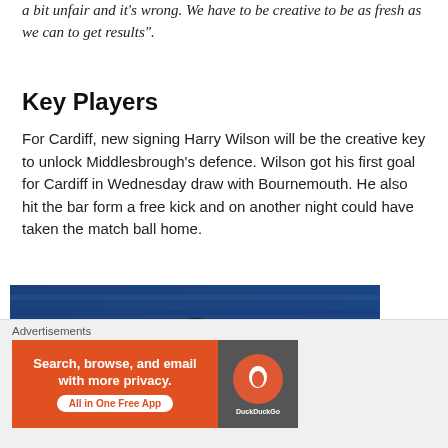a bit unfair and it's wrong. We have to be creative to be as fresh as we can to get results".
Key Players
For Cardiff, new signing Harry Wilson will be the creative key to unlock Middlesbrough's defence. Wilson got his first goal for Cardiff in Wednesday draw with Bournemouth. He also hit the bar form a free kick and on another night could have taken the match ball home.
[Figure (photo): Harry Wilson celebrating in Cardiff City blue kit, smiling with mouth open, another player visible in background]
Advertisements
[Figure (other): DuckDuckGo advertisement banner: Search, browse, and email with more privacy. All in One Free App. Orange background with DuckDuckGo logo on dark right panel.]